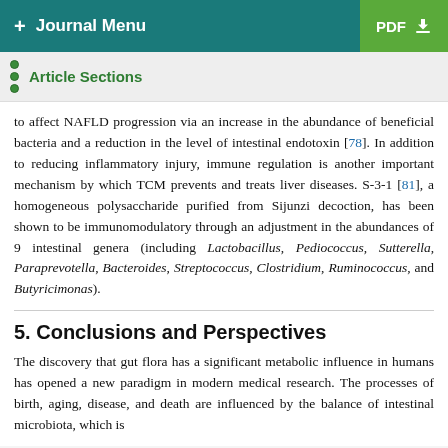+ Journal Menu  PDF ↓
Article Sections
to affect NAFLD progression via an increase in the abundance of beneficial bacteria and a reduction in the level of intestinal endotoxin [78]. In addition to reducing inflammatory injury, immune regulation is another important mechanism by which TCM prevents and treats liver diseases. S-3-1 [81], a homogeneous polysaccharide purified from Sijunzi decoction, has been shown to be immunomodulatory through an adjustment in the abundances of 9 intestinal genera (including Lactobacillus, Pediococcus, Sutterella, Paraprevotella, Bacteroides, Streptococcus, Clostridium, Ruminococcus, and Butyricimonas).
5. Conclusions and Perspectives
The discovery that gut flora has a significant metabolic influence in humans has opened a new paradigm in modern medical research. The processes of birth, aging, disease, and death are influenced by the balance of intestinal microbiota, which is